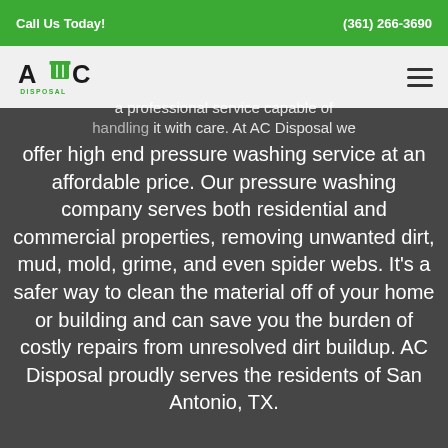Call Us Today!    (361) 266-3690
[Figure (logo): AC Disposal logo — letters A, C with a dumpster icon and word DISPOSAL below]
a professional service capable of handling it with care. At AC Disposal we offer high end pressure washing service at an affordable price. Our pressure washing company serves both residential and commercial properties, removing unwanted dirt, mud, mold, grime, and even spider webs. It's a safer way to clean the material off of your home or building and can save you the burden of costly repairs from unresolved dirt buildup. AC Disposal proudly serves the residents of San Antonio, TX.